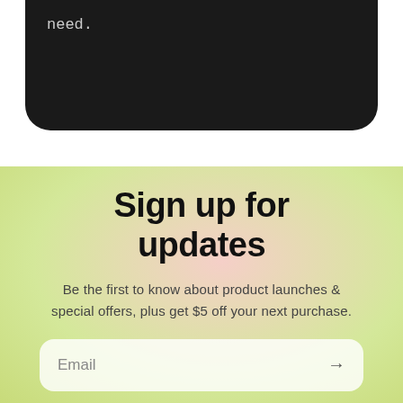need.
Sign up for updates
Be the first to know about product launches & special offers, plus get $5 off your next purchase.
Email →